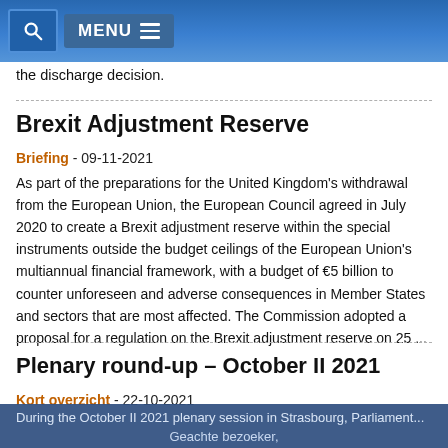MENU
the discharge decision.
Brexit Adjustment Reserve
Briefing - 09-11-2021
As part of the preparations for the United Kingdom's withdrawal from the European Union, the European Council agreed in July 2020 to create a Brexit adjustment reserve within the special instruments outside the budget ceilings of the European Union's multiannual financial framework, with a budget of €5 billion to counter unforeseen and adverse consequences in Member States and sectors that are most affected. The Commission adopted a proposal for a regulation on the Brexit adjustment reserve on 25 ...
Plenary round-up – October II 2021
Kort overzicht - 22-10-2021
During the October II 2021 plenary session in Strasbourg, Parliament...
Geachte bezoeker,